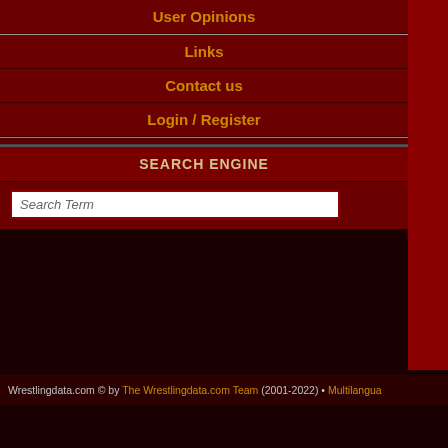Current Version
User Opinions
Links
Contact us
Login / Register
SEARCH ENGINE
Search Term
Wrestlingdata.com © by The Wrestlingdata.com Team (2001-2022) • Multilangua…